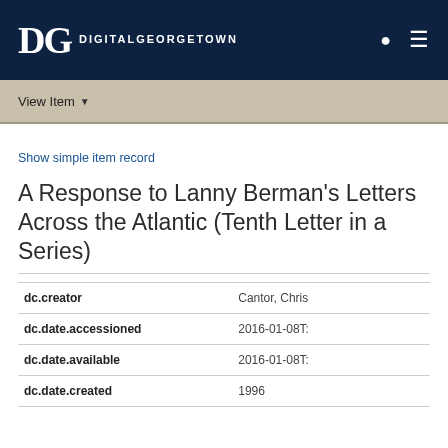DG DigitalGeorgetown
View Item
Show simple item record
A Response to Lanny Berman's Letters Across the Atlantic (Tenth Letter in a Series)
| Field | Value |
| --- | --- |
| dc.creator | Cantor, Chris |
| dc.date.accessioned | 2016-01-08T... |
| dc.date.available | 2016-01-08T... |
| dc.date.created | 1996 |